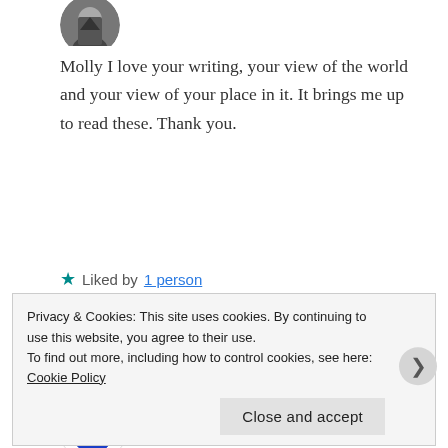[Figure (photo): Partial view of a user avatar photo at the top left, showing a person in a suit]
Molly I love your writing, your view of the world and your view of your place in it. It brings me up to read these. Thank you.
★ Liked by 1 person
Reply
[Figure (logo): Blue and white diamond/checker pattern circular avatar for Molly Kochan O]
Molly Kochan O
JULY 11, 2018 AT 7:38 AM
Privacy & Cookies: This site uses cookies. By continuing to use this website, you agree to their use.
To find out more, including how to control cookies, see here: Cookie Policy
Close and accept